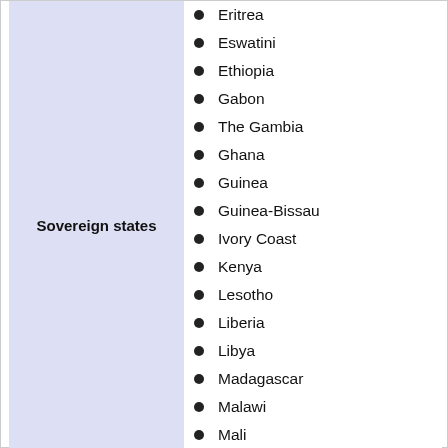Sovereign states
Eritrea
Eswatini
Ethiopia
Gabon
The Gambia
Ghana
Guinea
Guinea-Bissau
Ivory Coast
Kenya
Lesotho
Liberia
Libya
Madagascar
Malawi
Mali
Mauritania
Mauritius